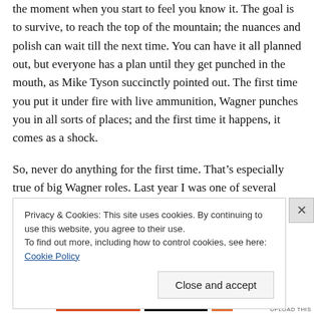the moment when you start to feel you know it. The goal is to survive, to reach the top of the mountain; the nuances and polish can wait till the next time. You can have it all planned out, but everyone has a plan until they get punched in the mouth, as Mike Tyson succinctly pointed out. The first time you put it under fire with live ammunition, Wagner punches you in all sorts of places; and the first time it happens, it comes as a shock.
So, never do anything for the first time. That’s especially true of big Wagner roles. Last year I was one of several singers around the world making their debut as Wotan in
Privacy & Cookies: This site uses cookies. By continuing to use this website, you agree to their use.
To find out more, including how to control cookies, see here: Cookie Policy
Close and accept